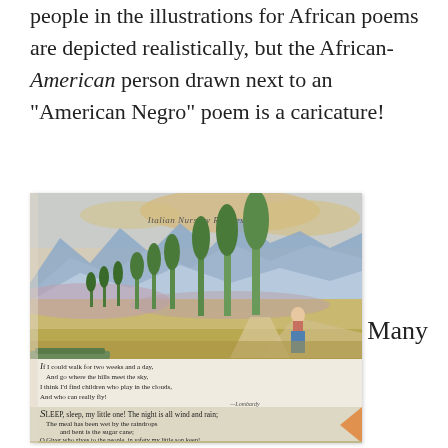people in the illustrations for African poems are depicted realistically, but the African-American person drawn next to an “American Negro” poem is a caricature!
[Figure (photo): A photograph of an open book showing an illustrated page titled 'Italian Nursery Rhymes' with a watercolor landscape of mountains, cypress trees, and a figure on a path. Below the illustration are two poems: one beginning 'If I could walk for two weeks and a day...' attributed to Lombardy, and one beginning 'SLEEP, sleep, my little one!' attributed to East Africa, Abrama.]
Many